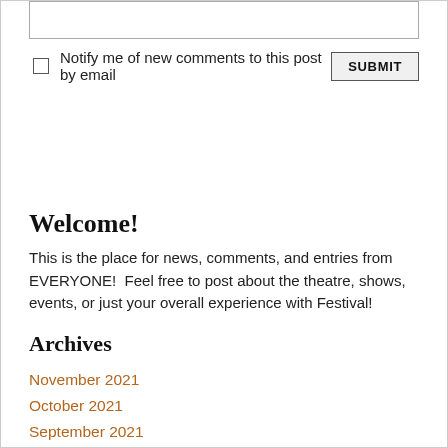[textarea input area]
Notify me of new comments to this post by email  SUBMIT
Welcome!
This is the place for news, comments, and entries from EVERYONE!  Feel free to post about the theatre, shows, events, or just your overall experience with Festival!
Archives
November 2021
October 2021
September 2021
August 2021
July 2021
June 2021